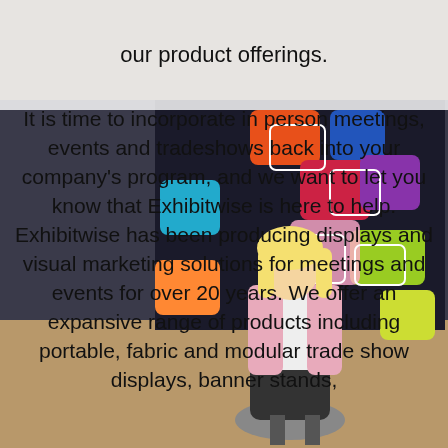[Figure (photo): A woman with blonde hair standing in front of a colorful trade show display backdrop with multicolored squares pattern.]
our product offerings.
It is time to incorporate in person meetings, events and tradeshows back into your company's program, and we want to let you know that Exhibitwise is here to help. Exhibitwise has been producing displays and visual marketing solutions for meetings and events for over 20 years. We offer an expansive range of products including portable, fabric and modular trade show displays, banner stands,